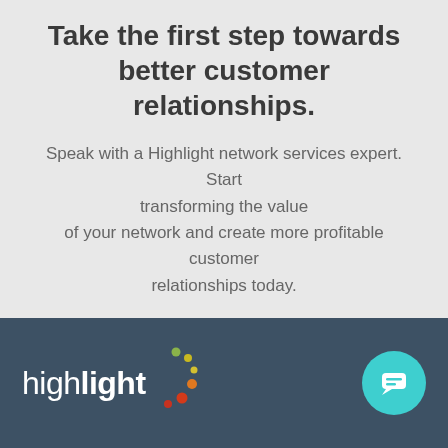Take the first step towards better customer relationships.
Speak with a Highlight network services expert. Start transforming the value of your network and create more profitable customer relationships today.
Talk to an expert
[Figure (logo): Highlight logo with colorful dot pattern and white text on dark blue-grey background]
[Figure (other): Teal circular chat bubble icon in bottom right corner]